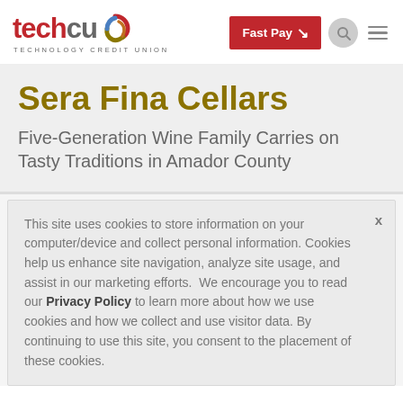[Figure (logo): TechCU Technology Credit Union logo with red 'tech' text, gray 'cu' text, and a circular swirl icon]
[Figure (other): Fast Pay red button with arrow, search icon circle, and hamburger menu icon]
Sera Fina Cellars
Five-Generation Wine Family Carries on Tasty Traditions in Amador County
This site uses cookies to store information on your computer/device and collect personal information. Cookies help us enhance site navigation, analyze site usage, and assist in our marketing efforts.  We encourage you to read our Privacy Policy to learn more about how we use cookies and how we collect and use visitor data. By continuing to use this site, you consent to the placement of these cookies.